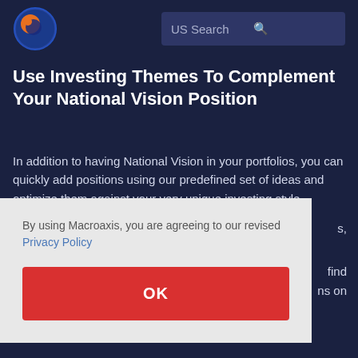[Figure (logo): Macroaxis logo: globe with orange and blue spherical design]
US Search
Use Investing Themes To Complement Your National Vision Position
In addition to having National Vision in your portfolios, you can quickly add positions using our predefined set of ideas and optimize them against your very unique investing style.
By using Macroaxis, you are agreeing to our revised Privacy Policy
OK